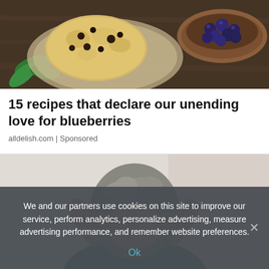[Figure (photo): Food photo showing a blueberry muffin/cookie on a plate with mint leaves and a bowl of blueberries on a dark wooden surface]
15 recipes that declare our unending love for blueberries
alldelish.com | Sponsored
[Figure (photo): Elderly woman with gray curly hair bending forward with hands on head/neck, appearing distressed]
We and our partners use cookies on this site to improve our service, perform analytics, personalize advertising, measure advertising performance, and remember website preferences.
Ok